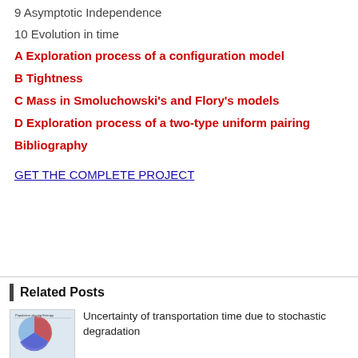9 Asymptotic Independence
10 Evolution in time
A Exploration process of a configuration model
B Tightness
C Mass in Smoluchowski's and Flory's models
D Exploration process of a two-type uniform pairing
Bibliography
GET THE COMPLETE PROJECT
Related Posts
Uncertainty of transportation time due to stochastic degradation